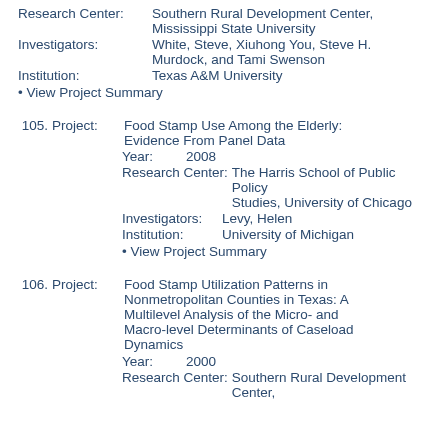Research Center: Southern Rural Development Center, Mississippi State University
Investigators: White, Steve, Xiuhong You, Steve H. Murdock, and Tami Swenson
Institution: Texas A&M University
• View Project Summary
105. Project: Food Stamp Use Among the Elderly: Evidence From Panel Data
Year: 2008
Research Center: The Harris School of Public Policy Studies, University of Chicago
Investigators: Levy, Helen
Institution: University of Michigan
• View Project Summary
106. Project: Food Stamp Utilization Patterns in Nonmetropolitan Counties in Texas: A Multilevel Analysis of the Micro- and Macro-level Determinants of Caseload Dynamics
Year: 2000
Research Center: Southern Rural Development Center,